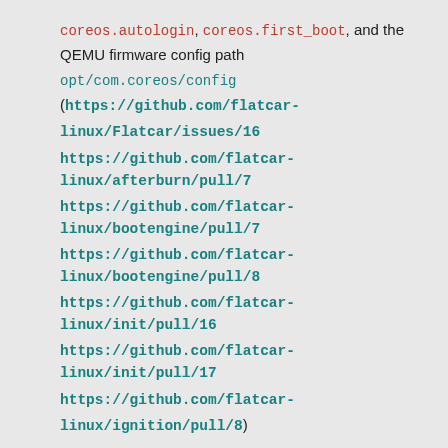coreos.autologin, coreos.first_boot, and the QEMU firmware config path opt/com.coreos/config (https://github.com/flatcar-linux/Flatcar/issues/16 https://github.com/flatcar-linux/afterburn/pull/7 https://github.com/flatcar-linux/bootengine/pull/7 https://github.com/flatcar-linux/bootengine/pull/8 https://github.com/flatcar-linux/init/pull/16 https://github.com/flatcar-linux/init/pull/17 https://github.com/flatcar-linux/ignition/pull/8)
Upstream Container Linux updates
Security fixes:
Fix systemd use-after-free upon receiving crafted D-